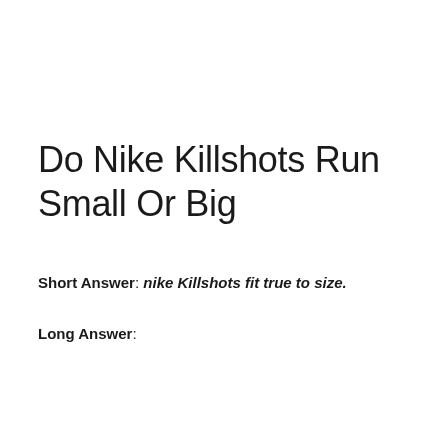Do Nike Killshots Run Small Or Big
Short Answer: nike Killshots fit true to size.
Long Answer: